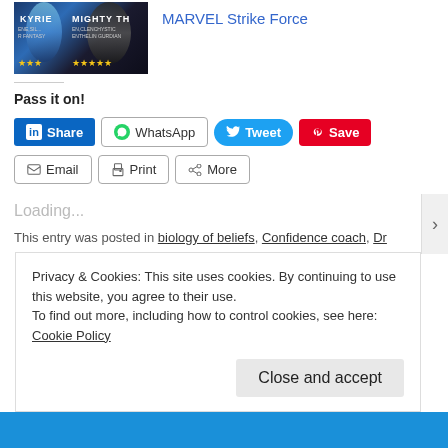[Figure (screenshot): MARVEL Strike Force game promotional image showing characters KYRIE and MIGHTY TH with star ratings]
MARVEL Strike Force
Pass it on!
[Figure (other): Social sharing buttons: Share (LinkedIn), WhatsApp, Tweet, Save (Pinterest), Email, Print, More]
Loading...
This entry was posted in biology of beliefs, Confidence coach, Dr
Privacy & Cookies: This site uses cookies. By continuing to use this website, you agree to their use.
To find out more, including how to control cookies, see here: Cookie Policy
Close and accept